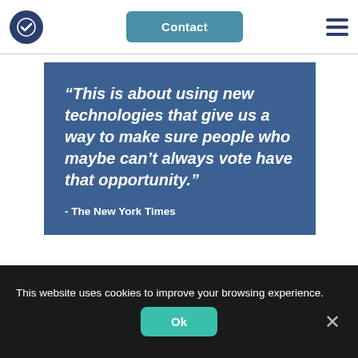Contact
[Figure (screenshot): Website screenshot showing a blue quote box with italic bold white text quoting The New York Times: 'This is about using new technologies that give us a way to make sure people who maybe can't always vote have that opportunity.' with attribution '- The New York Times']
This website uses cookies to improve your browsing experience.